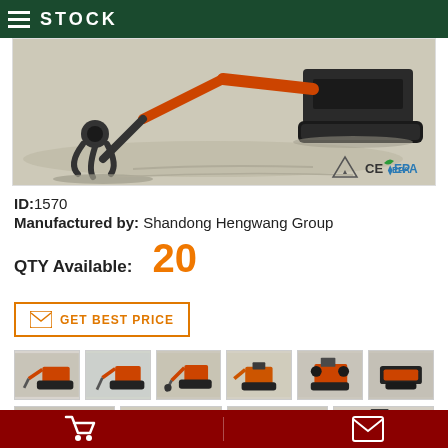STOCK
[Figure (photo): Mini excavator with claw/gripper attachment on sandy ground, with certification badges: CE and EPA]
ID:1570
Manufactured by: Shandong Hengwang Group
QTY Available: 20
[Figure (other): GET BEST PRICE button with envelope icon]
[Figure (photo): Row 1 of 6 product thumbnail images of mini excavators]
[Figure (photo): Row 2 of 4 product thumbnail images of mini excavators (partial, bottom cut off)]
Bottom navigation bar with cart icon and envelope icon